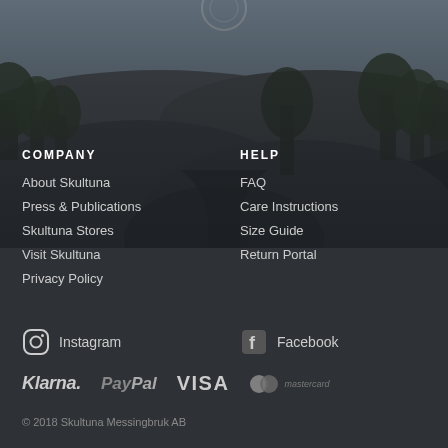[Figure (photo): Aerial/landscape photograph of rocky terrain with trees and water, moody dark tones, used as website footer background]
COMPANY
About Skultuna
Press & Publications
Skultuna Stores
Visit Skultuna
Privacy Policy
HELP
FAQ
Care Instructions
Size Guide
Return Portal
Instagram
Facebook
Klarna. PayPal VISA mastercard
© 2018 Skultuna Messingbruk AB